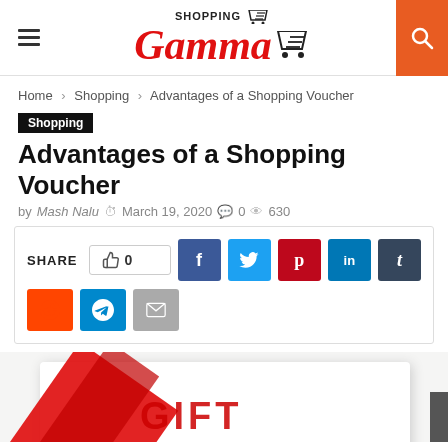Shopping Gamma — website header with hamburger menu, logo, and search button
Home > Shopping > Advantages of a Shopping Voucher
Shopping
Advantages of a Shopping Voucher
by Mash Nalu  March 19, 2020  0  630
[Figure (infographic): Share bar with like count (0), Facebook, Twitter, Pinterest, LinkedIn, Tumblr, Reddit, Telegram, and Email share buttons]
[Figure (photo): Partial photo of a gift card or shopping voucher with red ribbon on white background, text partially visible at bottom]